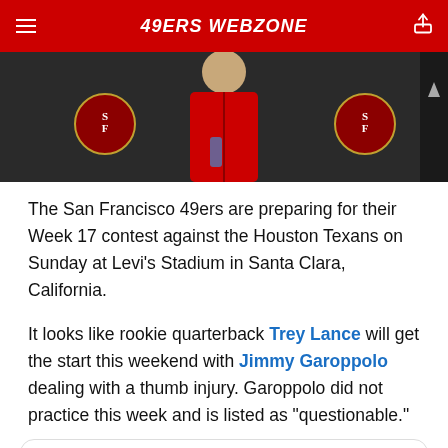49ERS WEBZONE
[Figure (photo): Person in red jacket at press conference with 49ers logos in background]
The San Francisco 49ers are preparing for their Week 17 contest against the Houston Texans on Sunday at Levi's Stadium in Santa Clara, California.
It looks like rookie quarterback Trey Lance will get the start this weekend with Jimmy Garoppolo dealing with a thumb injury. Garoppolo did not practice this week and is listed as "questionable."
Cam Inman @CamInman · Follow